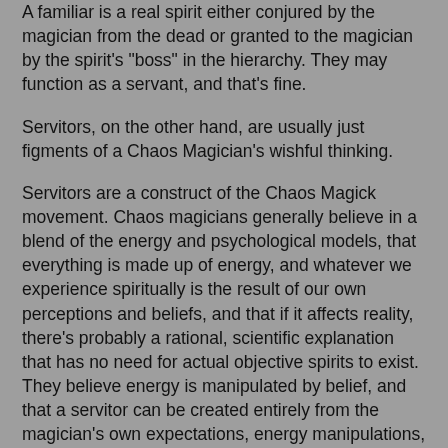A familiar is a real spirit either conjured by the magician from the dead or granted to the magician by the spirit's "boss" in the hierarchy. They may function as a servant, and that's fine.
Servitors, on the other hand, are usually just figments of a Chaos Magician's wishful thinking.
Servitors are a construct of the Chaos Magick movement. Chaos magicians generally believe in a blend of the energy and psychological models, that everything is made up of energy, and whatever we experience spiritually is the result of our own perceptions and beliefs, and that if it affects reality, there's probably a rational, scientific explanation that has no need for actual objective spirits to exist. They believe energy is manipulated by belief, and that a servitor can be created entirely from the magician's own expectations, energy manipulations, and the power of their belief.
How they can hold this philosophy is completely beyond me. If belief were the sole source of experiential reality, insane people really would be whatever they thought they were. I've experienced enough mentally ill people to know that no matter how true their faith in their delusions might be, their delusions are not real. Not one of the Napolean Bonapartes in Belleview lived in Elba. The homeless Viet-nam vet on crutches muttering about how he's the